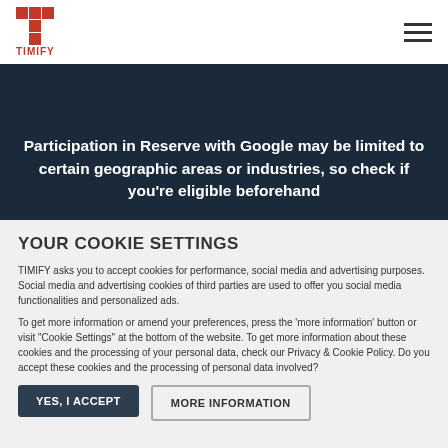TIMIFY
Participation in Reserve with Google may be limited to certain geographic areas or industries, so check if you're eligible beforehand
YOUR COOKIE SETTINGS
TIMIFY asks you to accept cookies for performance, social media and advertising purposes. Social media and advertising cookies of third parties are used to offer you social media functionalities and personalized ads.
To get more information or amend your preferences, press the 'more information' button or visit "Cookie Settings" at the bottom of the website. To get more information about these cookies and the processing of your personal data, check our Privacy & Cookie Policy. Do you accept these cookies and the processing of personal data involved?
YES, I ACCEPT
MORE INFORMATION